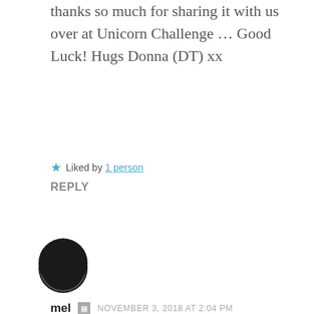thanks so much for sharing it with us over at Unicorn Challenge … Good Luck! Hugs Donna (DT) xx
Liked by 1 person
REPLY
[Figure (photo): Circular avatar image with dark background, showing 'Decca Gon Dun' text in a circular badge style]
mel  NOVEMBER 3, 2018 AT 2:04 PM
Thank you so much Donna! Happy weekend!
Like